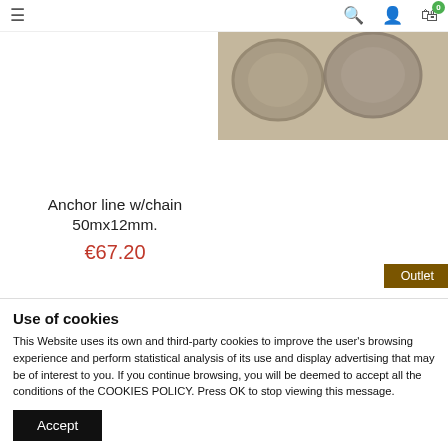Navigation bar with menu, search, user, and cart icons
[Figure (photo): Product image of mooring/anchor ropes, partially visible at top right]
Anchor line w/chain 50mx12mm.
€67.20
UNIMER mooring damper rope 10-12mm
€23.99
Outlet
Outlet
Use of cookies
This Website uses its own and third-party cookies to improve the user's browsing experience and perform statistical analysis of its use and display advertising that may be of interest to you. If you continue browsing, you will be deemed to accept all the conditions of the COOKIES POLICY. Press OK to stop viewing this message.
Accept